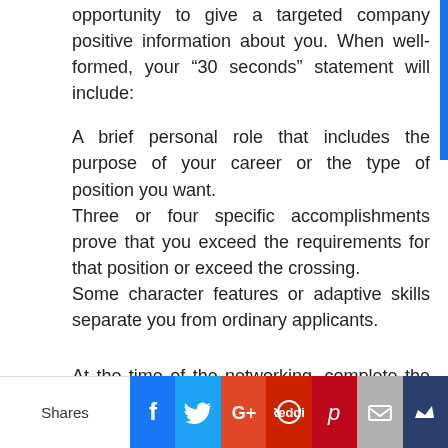opportunity to give a targeted company positive information about you. When well-formed, your “30 seconds” statement will include:
A brief personal role that includes the purpose of your career or the type of position you want.
Three or four specific accomplishments prove that you exceed the requirements for that position or exceed the crossing.
Some character features or adaptive skills separate you from ordinary applicants.
At the time of the networking, complete the statement with “Ask me for 30 seconds” queries that can not be answered with a “yes” or “no” answer that can create referrals or job